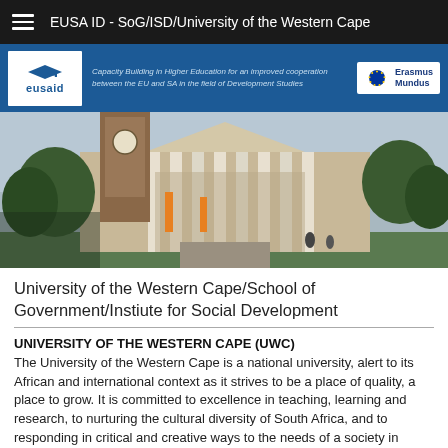EUSA ID - SoG/ISD/University of the Western Cape
[Figure (logo): EUSA ID logo and Erasmus Mundus logo on blue banner with tagline: Capacity Building in Higher Education for an improved cooperation between the EU and SA in the field of Development Studies]
[Figure (photo): Photograph of a university building with columns and a clock tower, surrounded by trees]
University of the Western Cape/School of Government/Instiute for Social Development
UNIVERSITY OF THE WESTERN CAPE (UWC)
The University of the Western Cape is a national university, alert to its African and international context as it strives to be a place of quality, a place to grow. It is committed to excellence in teaching, learning and research, to nurturing the cultural diversity of South Africa, and to responding in critical and creative ways to the needs of a society in